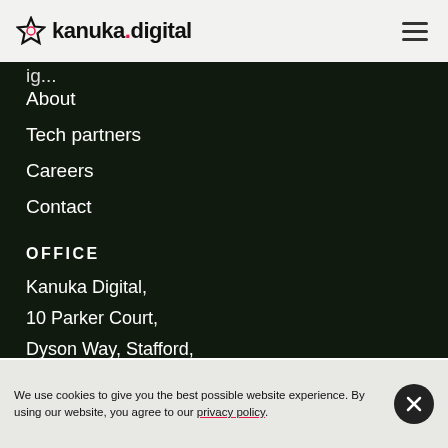kanuka.digital
About
Tech partners
Careers
Contact
OFFICE
Kanuka Digital,
10 Parker Court,
Dyson Way, Stafford,
Staffordshire,
We use cookies to give you the best possible website experience. By using our website, you agree to our privacy policy.